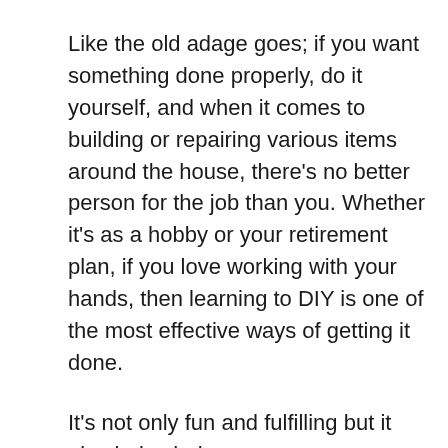Like the old adage goes; if you want something done properly, do it yourself, and when it comes to building or repairing various items around the house, there's no better person for the job than you. Whether it's as a hobby or your retirement plan, if you love working with your hands, then learning to DIY is one of the most effective ways of getting it done.
It's not only fun and fulfilling but it also helps help you save money—most of the time, and you'll learn a new skill in the process which you can use to make some extra money. However, it does